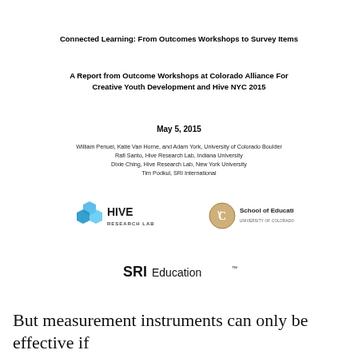Connected Learning: From Outcomes Workshops to Survey Items
A Report from Outcome Workshops at Colorado Alliance For Creative Youth Development and Hive NYC 2015
May 5, 2015
William Penuel, Katie Van Horne, and Adam York, University of Colorado Boulder
Rafi Santo, Hive Research Lab, Indiana University
Dixie Ching, Hive Research Lab, New York University
Tim Podkul, SRI International
[Figure (logo): Hive Research Lab logo with blue hexagonal shapes]
[Figure (logo): University of Colorado Boulder School of Education logo with gold CU emblem]
[Figure (logo): SRI Education logo in black text]
But measurement instruments can only be effective if